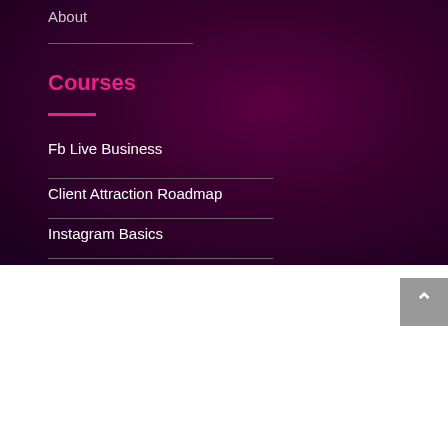About
Courses
Fb Live Business
Client Attraction Roadmap
Instagram Basics
We use cookies on our website to give you the most relevant experience by remembering your preferences and repeat visits. By clicking "Accept All", you consent to the use of ALL the cookies. However, you may visit "Cookie Settings" to provide a controlled consent.
Cookie Settings
Accept All